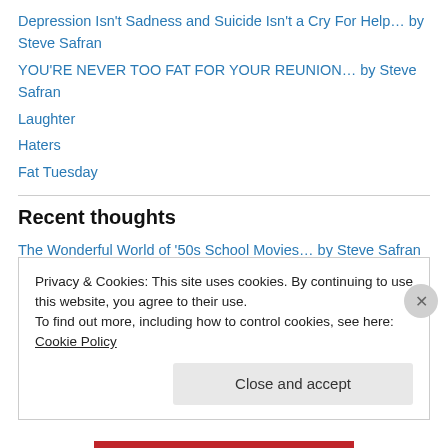Depression Isn't Sadness and Suicide Isn't a Cry For Help... by Steve Safran
YOU'RE NEVER TOO FAT FOR YOUR REUNION... by Steve Safran
Laughter
Haters
Fat Tuesday
Recent thoughts
The Wonderful World of '50s School Movies… by Steve Safran
NOBODY IS OVERQUALIFIED… by Steve Safran
GOD'S EDITOR, JERRY… by Steve Safran
Privacy & Cookies: This site uses cookies. By continuing to use this website, you agree to their use.
To find out more, including how to control cookies, see here: Cookie Policy
Close and accept